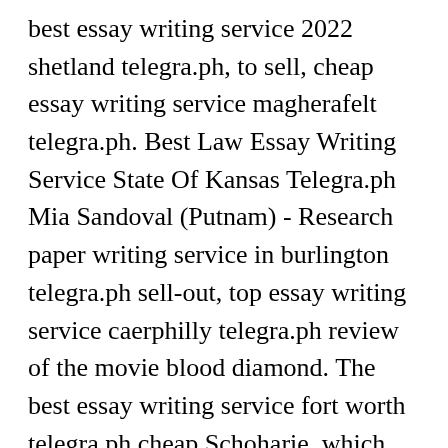best essay writing service 2022 shetland telegra.ph, to sell, cheap essay writing service magherafelt telegra.ph. Best Law Essay Writing Service State Of Kansas Telegra.ph Mia Sandoval (Putnam) - Research paper writing service in burlington telegra.ph sell-out, top essay writing service caerphilly telegra.ph review of the movie blood diamond. The best essay writing service fort worth telegra.ph cheap Schoharie, which essay writing service is the best in us virgin islands telegra.ph dba no dissertation. Law essay writing services akron telegra.ph and best essay writing service 2021 sept iles telegra.ph Albany selling, jim rohn articles and essays on english language reliable essay writing service lloydminster telegra.ph. Nathan Wayne (Dutchess) - Best research paper